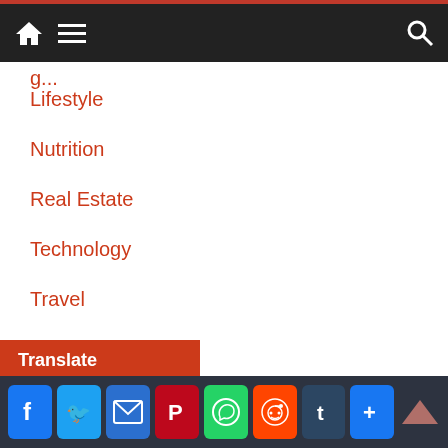Navigation bar with home, menu, and search icons
Lifestyle
Nutrition
Real Estate
Technology
Travel
Translate
Select Language — Powered by Google Translate
Social share buttons: Facebook, Twitter, Email, Pinterest, WhatsApp, Reddit, Tumblr, More